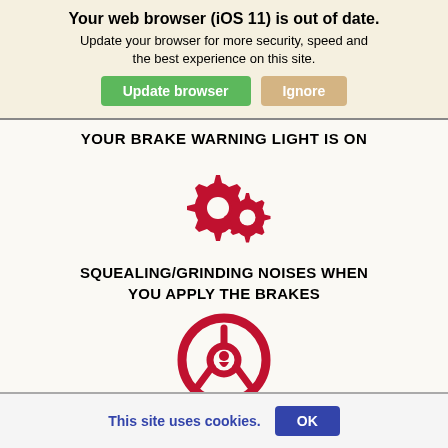Your web browser (iOS 11) is out of date.
Update your browser for more security, speed and the best experience on this site.
Update browser   Ignore
YOUR BRAKE WARNING LIGHT IS ON
[Figure (illustration): Two red interlocking gear icons]
SQUEALING/GRINDING NOISES WHEN YOU APPLY THE BRAKES
[Figure (illustration): Red steering wheel icon]
This site uses cookies.   OK